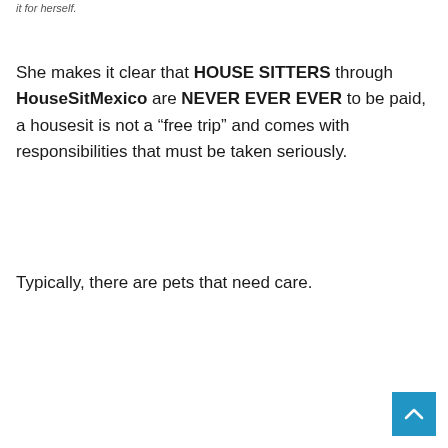it for herself.
She makes it clear that HOUSE SITTERS through HouseSitMexico are NEVER EVER EVER to be paid, a housesit is not a “free trip” and comes with responsibilities that must be taken seriously.
Typically, there are pets that need care.